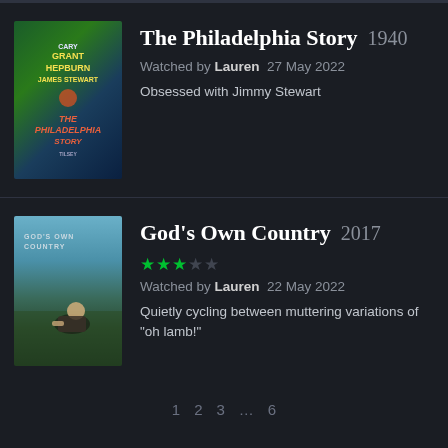[Figure (photo): Movie poster for The Philadelphia Story (1940) with Cary Grant, Katharine Hepburn, and James Stewart]
The Philadelphia Story 1940
Watched by Lauren  27 May 2022
Obsessed with Jimmy Stewart
[Figure (photo): Movie poster for God's Own Country (2017) showing a young man crouching in a field]
God's Own Country 2017
★★★ Watched by Lauren  22 May 2022
Quietly cycling between muttering variations of "oh lamb!"
1  2  3  …  6